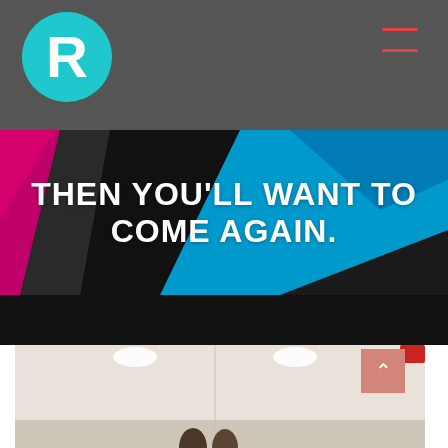[Figure (logo): Circular teal logo with white letter R]
[Figure (illustration): Hamburger menu icon with two red horizontal lines on dark grey header]
[Figure (photo): Background hero image with colorful geometric shapes in magenta, black, and blue. White bold uppercase text overlaid: THEN YOU'LL WANT TO COME AGAIN.]
[Figure (photo): Interior room photo showing white walls with ceiling spotlights and two people standing at the bottom, partially visible. Pink scroll-to-top button with upward chevron in bottom right.]